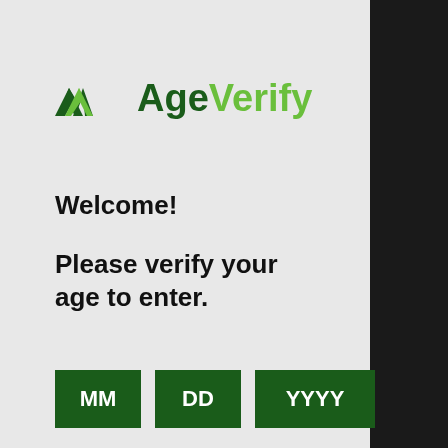[Figure (logo): AgeVerify logo with mountain/checkmark icon in dark green and light green, with text 'AgeVerify' where 'Age' is dark green bold and 'Verify' is light green bold]
Welcome!
Please verify your age to enter.
[Figure (other): Three dark green input buttons labeled MM, DD, YYYY for date of birth entry]